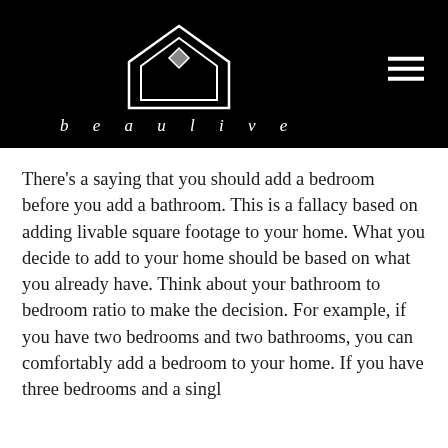beaulive
There's a saying that you should add a bedroom before you add a bathroom. This is a fallacy based on adding livable square footage to your home. What you decide to add to your home should be based on what you already have. Think about your bathroom to bedroom ratio to make the decision. For example, if you have two bedrooms and two bathrooms, you can comfortably add a bedroom to your home. If you have three bedrooms and a single...